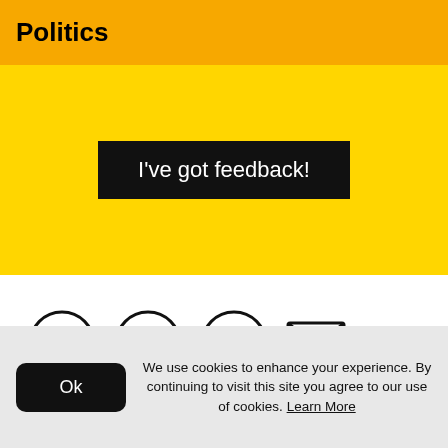Politics
[Figure (screenshot): Yellow banner with black button labeled 'I've got feedback!']
[Figure (infographic): Row of social share icons: Facebook, Twitter, WhatsApp, Email]
[Figure (other): Light grey advertisement area with AD circle watermark]
We use cookies to enhance your experience. By continuing to visit this site you agree to our use of cookies. Learn More